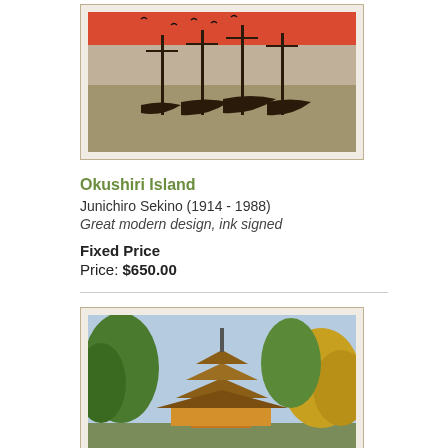[Figure (illustration): Japanese woodblock print depicting ships/boats with masts and birds against a red and grey sky, Okushiri Island scene]
Okushiri Island
Junichiro Sekino (1914 - 1988)
Great modern design, ink signed
Fixed Price
Price: $650.00
[Figure (illustration): Japanese woodblock print depicting a pagoda temple (Ishiyamadera) surrounded by trees with green and yellow foliage]
Ishiyamadera Temple, 1985
Junichiro Sekino (1914 - 1988)